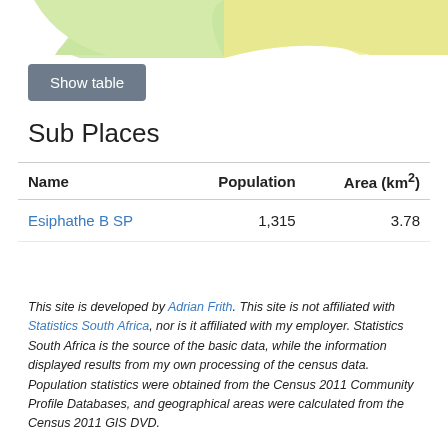[Figure (pie-chart): Partial pie chart visible at top of page, showing light green and yellow segments]
Show table
Sub Places
| Name | Population | Area (km²) |
| --- | --- | --- |
| Esiphathe B SP | 1,315 | 3.78 |
This site is developed by Adrian Frith. This site is not affiliated with Statistics South Africa, nor is it affiliated with my employer. Statistics South Africa is the source of the basic data, while the information displayed results from my own processing of the census data. Population statistics were obtained from the Census 2011 Community Profile Databases, and geographical areas were calculated from the Census 2011 GIS DVD.